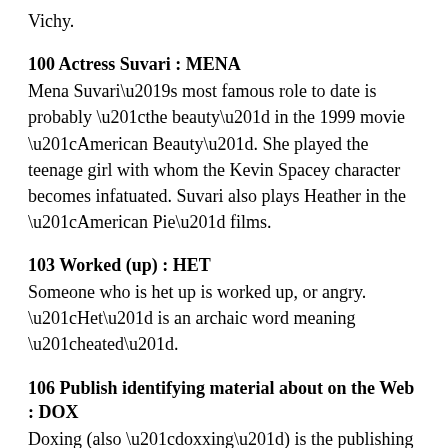Vichy.
100 Actress Suvari : MENA
Mena Suvari’s most famous role to date is probably “the beauty” in the 1999 movie “American Beauty”. She played the teenage girl with whom the Kevin Spacey character becomes infatuated. Suvari also plays Heather in the “American Pie” films.
103 Worked (up) : HET
Someone who is het up is worked up, or angry. “Het” is an archaic word meaning “heated”.
106 Publish identifying material about on the Web : DOX
Doxing (also “doxxing”) is the publishing of private information about someone on the Internet with the intention of doing harm or causing embarrassment. The term “doxing” is slang, and come from “dox”, an accepted abbreviation for “documents”.